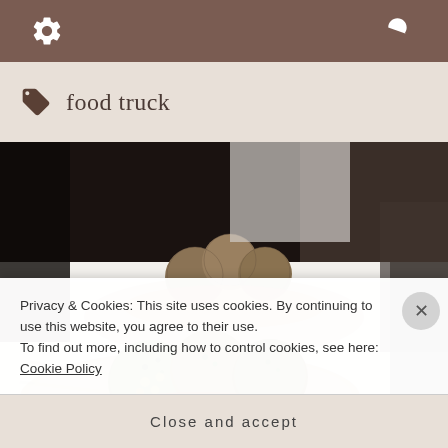Settings and Search navigation bar
food truck
[Figure (photo): Close-up photograph of food dishes on a counter: in the background, a bowl with several round meatball-like items in sauce; in the foreground, a plate with colorful stuffed vegetable or grain balls garnished with green herbs, served on what appears to be palm leaf plates on a white counter.]
Privacy & Cookies: This site uses cookies. By continuing to use this website, you agree to their use.
To find out more, including how to control cookies, see here: Cookie Policy
Close and accept